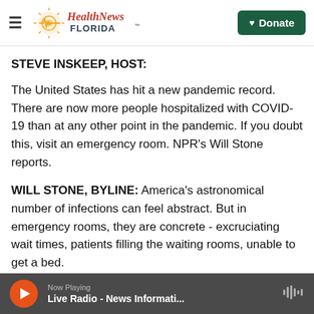Health News Florida — Donate
STEVE INSKEEP, HOST:
The United States has hit a new pandemic record. There are now more people hospitalized with COVID-19 than at any other point in the pandemic. If you doubt this, visit an emergency room. NPR's Will Stone reports.
WILL STONE, BYLINE: America's astronomical number of infections can feel abstract. But in emergency rooms, they are concrete - excruciating wait times, patients filling the waiting rooms, unable to get a bed.
Now Playing — Live Radio - News Informati...